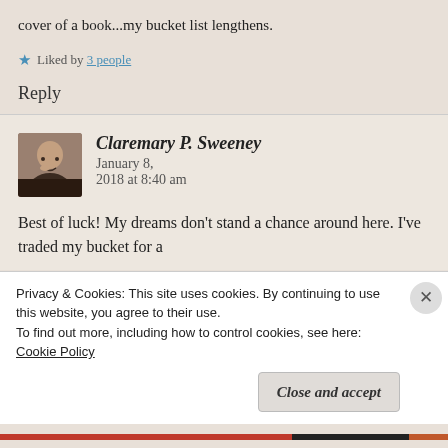cover of a book...my bucket list lengthens.
Liked by 3 people
Reply
Claremary P. Sweeney   January 8, 2018 at 8:40 am
Best of luck! My dreams don’t stand a chance around here. I’ve traded my bucket for a
Privacy & Cookies: This site uses cookies. By continuing to use this website, you agree to their use. To find out more, including how to control cookies, see here: Cookie Policy
Close and accept